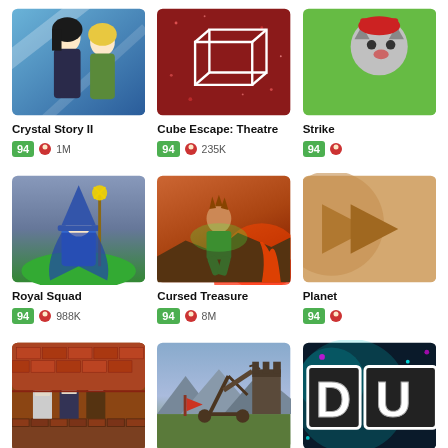[Figure (screenshot): Crystal Story II game thumbnail - anime style two characters with weapons]
Crystal Story II
94 1M
[Figure (screenshot): Cube Escape: Theatre - white cube outline on red background]
Cube Escape: Theatre
94 235K
[Figure (screenshot): Strike - partial, cat character on green background]
Strike
94
[Figure (screenshot): Royal Squad - wizard character with staff on green landscape]
Royal Squad
94 988K
[Figure (screenshot): Cursed Treasure - action scene with character on volcanic landscape]
Cursed Treasure
94 8M
[Figure (screenshot): Planet - partial thumbnail with tan/orange background]
Planet
94
[Figure (screenshot): Pixel art RPG game - characters on brick/stone background]
[Figure (screenshot): Medieval siege weapon game - catapult with mountains]
[Figure (screenshot): Partial game thumbnail with teal/black background and bold text]